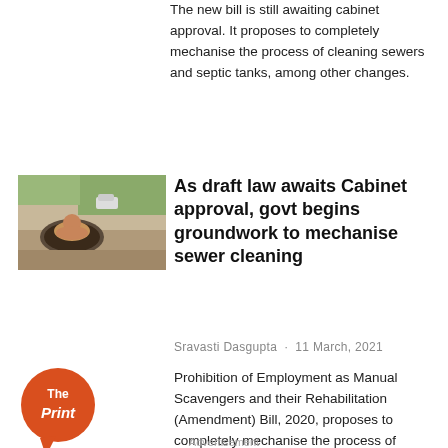The new bill is still awaiting cabinet approval. It proposes to completely mechanise the process of cleaning sewers and septic tanks, among other changes.
[Figure (photo): A worker inside a manhole/sewer, cleaning manually, photographed from above.]
As draft law awaits Cabinet approval, govt begins groundwork to mechanise sewer cleaning
Sravasti Dasgupta · 11 March, 2021
[Figure (logo): The Print logo — orange circular badge with 'The Print' text and a speech bubble tail.]
Prohibition of Employment as Manual Scavengers and their Rehabilitation (Amendment) Bill, 2020, proposes to completely mechanise the process of cleaning sewers and septic tanks.
Advertisement